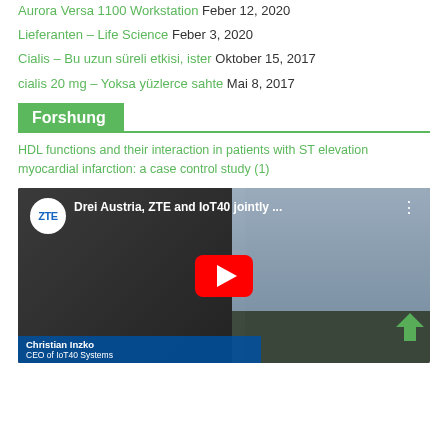Aurora Versa 1100 Workstation Feber 12, 2020
Lieferanten – Life Science Feber 3, 2020
Cialis – Bu uzun süreli etkisi, ister Oktober 15, 2017
cialis 20 mg – Yoksa yüzlerce sahte Mai 8, 2017
Forshung
HDL functions and their interaction in patients with ST elevation myocardial infarction: a case control study (1)
[Figure (screenshot): YouTube video thumbnail showing 'Drei Austria, ZTE and IoT40 jointly ...' with ZTE logo circle, a man (Christian Inzko, CEO of IoT40 Systems) in foreground and city skyline behind, with red YouTube play button overlay]